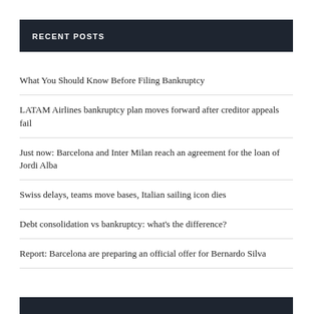RECENT POSTS
What You Should Know Before Filing Bankruptcy
LATAM Airlines bankruptcy plan moves forward after creditor appeals fail
Just now: Barcelona and Inter Milan reach an agreement for the loan of Jordi Alba
Swiss delays, teams move bases, Italian sailing icon dies
Debt consolidation vs bankruptcy: what's the difference?
Report: Barcelona are preparing an official offer for Bernardo Silva